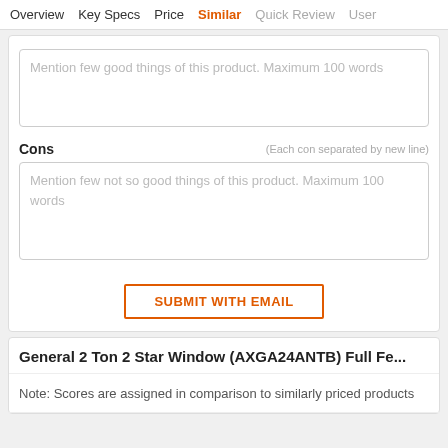Overview  Key Specs  Price  Similar  Quick Review  User
Mention few good things of this product. Maximum 100 words
Cons
(Each con separated by new line)
Mention few not so good things of this product. Maximum 100 words
SUBMIT WITH EMAIL
General 2 Ton 2 Star Window (AXGA24ANTB) Full Fe...
Note: Scores are assigned in comparison to similarly priced products